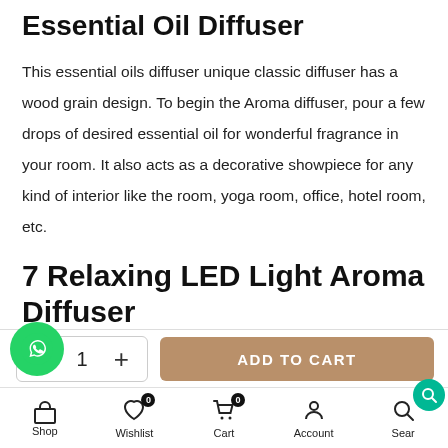Essential Oil Diffuser
This essential oils diffuser unique classic diffuser has a wood grain design. To begin the Aroma diffuser, pour a few drops of desired essential oil for wonderful fragrance in your room. It also acts as a decorative showpiece for any kind of interior like the room, yoga room, office, hotel room, etc.
7 Relaxing LED Light Aroma Diffuser
Shop | Wishlist 0 | Cart 0 | Account | Search